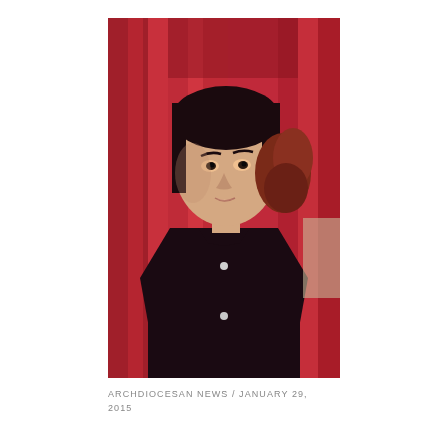[Figure (photo): A young man with dark hair wearing a black shirt with small buttons, photographed against a red curtain background. Another person with curly hair is partially visible behind him.]
ARCHDIOCESAN NEWS / JANUARY 29, 2015